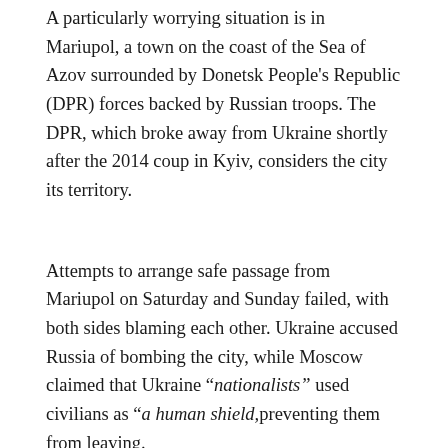A particularly worrying situation is in Mariupol, a town on the coast of the Sea of Azov surrounded by Donetsk People's Republic (DPR) forces backed by Russian troops. The DPR, which broke away from Ukraine shortly after the 2014 coup in Kyiv, considers the city its territory.
Attempts to arrange safe passage from Mariupol on Saturday and Sunday failed, with both sides blaming each other. Ukraine accused Russia of bombing the city, while Moscow claimed that Ukraine “nationalists” used civilians as “a human shield,preventing them from leaving.
Ukraine reported heavy shelling of residential areas in Kyiv, Kharkov and other places. The Russian Defense Ministry, meanwhile, insists it only hits military sites, such as airfields,